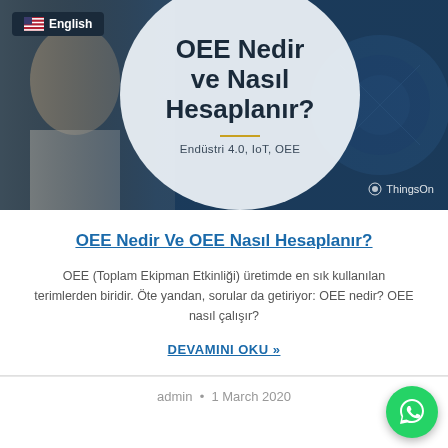[Figure (illustration): Hero banner image showing a person working on machinery with a circular overlay containing the title 'OEE Nedir ve Nasıl Hesaplanır?' on a dark blue industrial background. ThingsOn branding visible. English language badge in top left.]
OEE Nedir Ve OEE Nasıl Hesaplanır?
OEE (Toplam Ekipman Etkinliği) üretimde en sık kullanılan terimlerden biridir. Öte yandan, sorular da getiriyor: OEE nedir? OEE nasıl çalışır?
DEVAMINI OKU »
admin • 1 March 2020